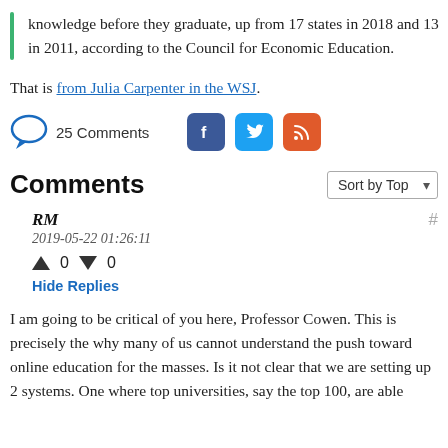knowledge before they graduate, up from 17 states in 2018 and 13 in 2011, according to the Council for Economic Education.
That is from Julia Carpenter in the WSJ.
25 Comments
Comments
RM
2019-05-22 01:26:11
↑ 0 ↓ 0
Hide Replies
I am going to be critical of you here, Professor Cowen. This is precisely the why many of us cannot understand the push toward online education for the masses. Is it not clear that we are setting up 2 systems. One where top universities, say the top 100, are able